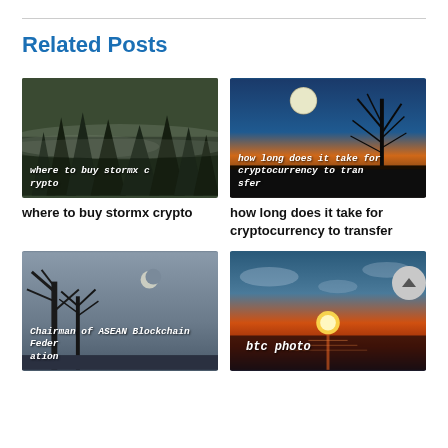Related Posts
[Figure (photo): Foggy forest with dark evergreen trees, monochrome greenish-grey tones, with text overlay 'where to buy stormx crypto']
where to buy stormx crypto
[Figure (photo): Night sky with full moon and bare tree silhouette, warm orange sunset horizon, with text overlay 'how long does it take for cryptocurrency to transfer']
how long does it take for cryptocurrency to transfer
[Figure (photo): Silhouette of tropical trees against grey sky with crescent moon, with text overlay 'Chairman of ASEAN Blockchain Federation']
[Figure (photo): Dramatic sunset over water with orange and red sky, with text overlay 'btc photo']